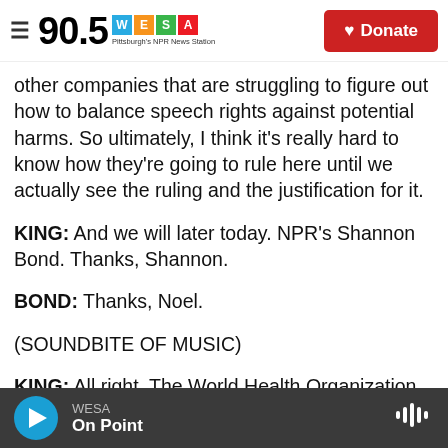90.5 WESA Pittsburgh's NPR News Station | Donate
other companies that are struggling to figure out how to balance speech rights against potential harms. So ultimately, I think it's really hard to know how they're going to rule here until we actually see the ruling and the justification for it.
KING: And we will later today. NPR's Shannon Bond. Thanks, Shannon.
BOND: Thanks, Noel.
(SOUNDBITE OF MUSIC)
KING: All right. The World Health Organization says
WESA On Point